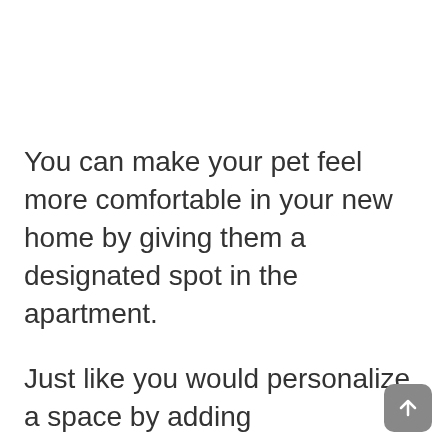You can make your pet feel more comfortable in your new home by giving them a designated spot in the apartment.
Just like you would personalize a space by adding